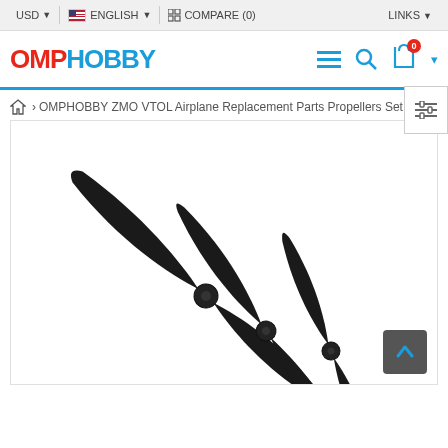USD | ENGLISH | COMPARE (0) | LINKS
[Figure (logo): OMPHOBBY logo with OMP in red and HOBBY in blue]
OMPHOBBY ZMO VTOL Airplane Replacement Parts Propellers Set
[Figure (photo): Three black carbon fiber propellers for OMPHOBBY ZMO VTOL airplane, arranged in an overlapping fan pattern on white background]